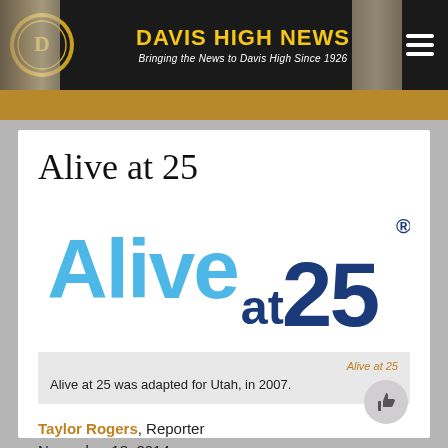DAVIS HIGH NEWS — Bringing the News to Davis High Since 1926
Alive at 25
[Figure (logo): Alive at 25 logo with 'Alive' in light blue and 'at 25' in dark navy blue with registered trademark symbol]
Alive at 25
Alive at 25 was adapted for Utah, in 2007.
Taylor Rogers, Reporter
November 18, 2014